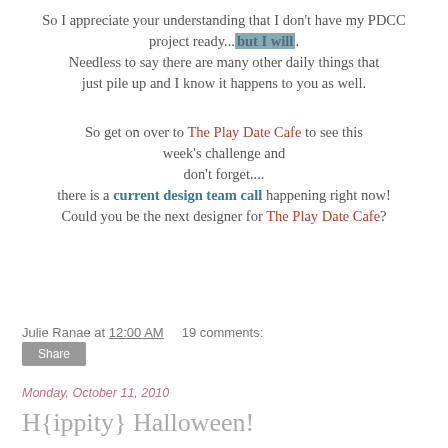So I appreciate your understanding that I don't have my PDCC project ready...but I will. Needless to say there are many other daily things that just pile up and I know it happens to you as well.
So get on over to The Play Date Cafe to see this week's challenge and don't forget.... there is a current design team call happening right now! Could you be the next designer for The Play Date Cafe?
Julie Ranae at 12:00 AM   19 comments:
Share
Monday, October 11, 2010
H{ippity} Halloween!